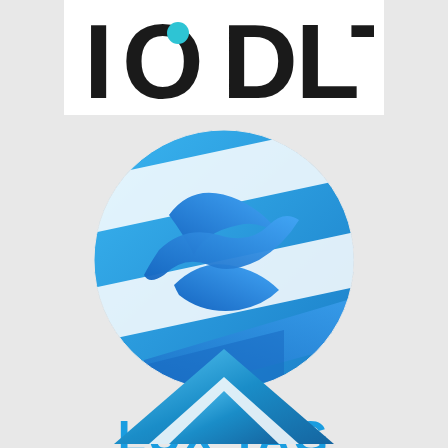[Figure (logo): IODLT logo with teal dot over the O, black bold text on white background, partially cropped at top]
[Figure (logo): LuxTag circular logo with blue swirl/wave design and diagonal stripe pattern, followed by LUX TAG text in bold blue]
[Figure (logo): Partially visible blue triangular/arrow logo at bottom of page]